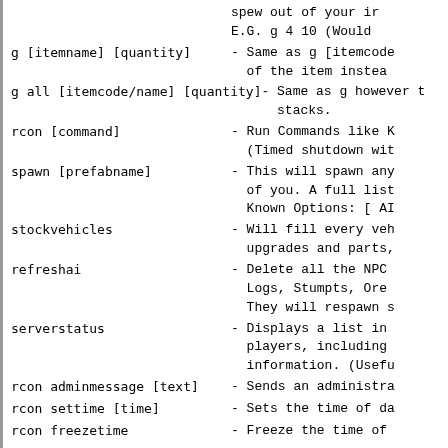g [itemname] [quantity] - Same as g [itemcode of the item instead
g all [itemcode/name] [quantity] - Same as g however stacks.
rcon [command] - Run Commands like K (Timed shutdown wit
spawn [prefabname] - This will spawn any of you. A full list Known Options: [ AI
stockvehicles - Will fill every veh upgrades and parts,
refreshai - Delete all the NPC Logs, Stumpts, Ore They will respawn s
serverstatus - Displays a list in players, including information. (Usefu
rcon adminmessage [text] - Sends an administra
rcon settime [time] - Sets the time of da
rcon freezetime - Freeze the time of
teleport [teleportthisplayer] [tothisplayer]
Full names required. Teleports one player to another.
Item ID List: